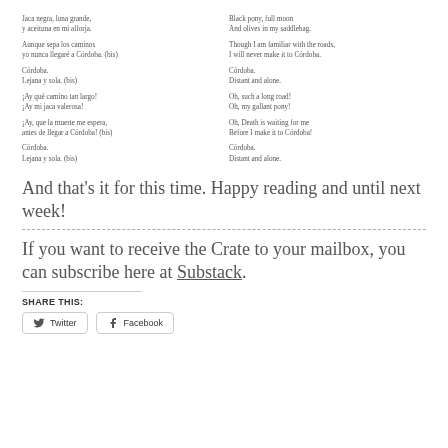Jaca negra, luna grande,
y aceituna en mi alforja.

Aunque sepa los caminos
yo nunca llegaré a Córdoba. (bis)

Córdoba.
Lejana y sola. (bis)

¡Ay qué camino tan largo!
¡Ay mi jaca valerosa!

¡Ay, que la muerte me espera,
antes de llegar a Córdoba! (bis)

Córdoba.
Lejana y sola. (bis)
Black pony, full moon
And olives in my saddlebag.

Though I am familiar with the roads,
I will never make it to Córdoba.

Córdoba.
Distant and alone.

Oh, such a long road!
Oh, my gallant pony!

Oh, Death is waiting for me
Before I make it to Córdoba!

Córdoba.
Distant and alone.
And that's it for this time. Happy reading and until next week!
If you want to receive the Crate to your mailbox, you can subscribe here at Substack.
SHARE THIS:
Twitter  Facebook